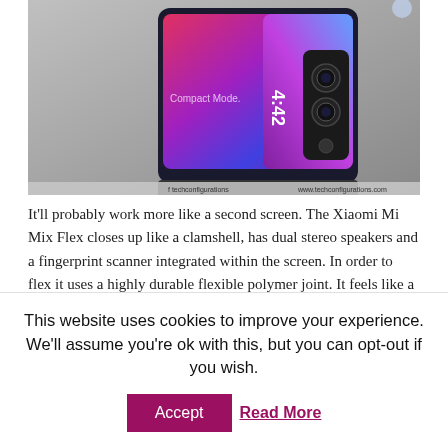[Figure (photo): Xiaomi Mi Mix Flex foldable phone concept in compact mode, showing the closed clamshell form with camera module and colorful display visible, on a gray background. Text overlay reads 'Compact Mode.']
It'll probably work more like a second screen. The Xiaomi Mi Mix Flex closes up like a clamshell, has dual stereo speakers and a fingerprint scanner integrated within the screen. In order to flex it uses a highly durable flexible polymer joint. It feels like a reinforced titanium wallet of sort. For those
This website uses cookies to improve your experience. We'll assume you're ok with this, but you can opt-out if you wish.
Accept   Read More